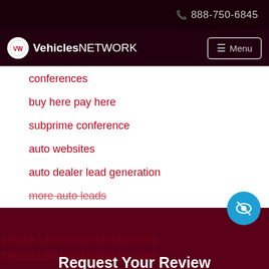888-750-6845
VehiclesNETWORK  Menu
conferences
buy here pay here
subprime conference
auto websites
auto dealer lead generation
more auto leads
Request Your Review
Name